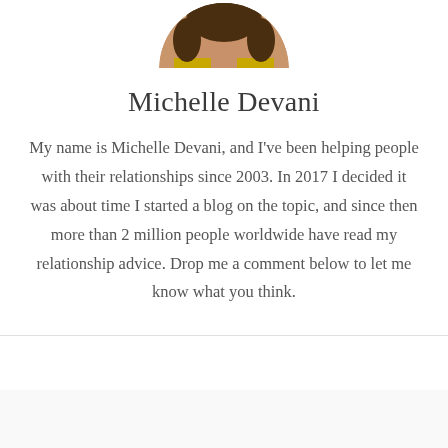[Figure (photo): Circular cropped profile photo of Michelle Devani, partially visible at the top of the page]
Michelle Devani
My name is Michelle Devani, and I've been helping people with their relationships since 2003. In 2017 I decided it was about time I started a blog on the topic, and since then more than 2 million people worldwide have read my relationship advice. Drop me a comment below to let me know what you think.